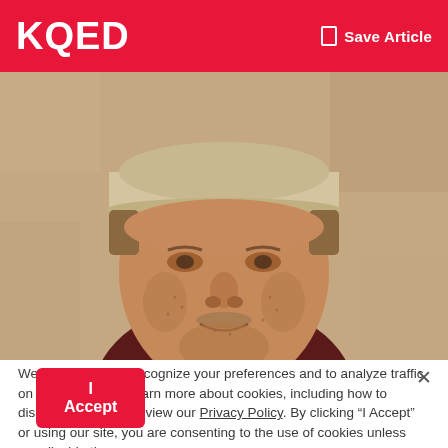KQED
Save Article
[Figure (photo): Close-up photo of a middle-aged man with a short beard and stubble wearing a light-colored baseball cap and dark jacket, set against a tan stucco wall background.]
We use cookies to recognize your preferences and to analyze traffic on our website. To learn more about cookies, including how to disable them, please view our Privacy Policy. By clicking “I Accept” or using our site, you are consenting to the use of cookies unless you disable them.
I Accept